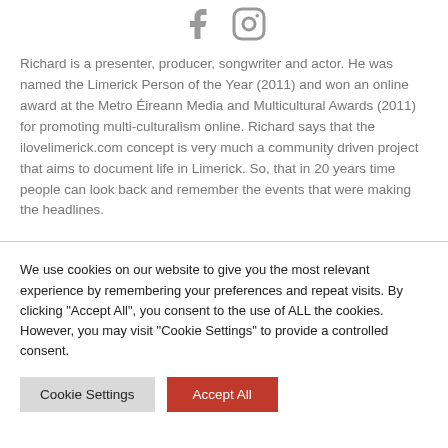[Figure (other): Social media icons: Facebook and Instagram, grey colored]
Richard is a presenter, producer, songwriter and actor. He was named the Limerick Person of the Year (2011) and won an online award at the Metro Éireann Media and Multicultural Awards (2011) for promoting multi-culturalism online. Richard says that the ilovelimerick.com concept is very much a community driven project that aims to document life in Limerick. So, that in 20 years time people can look back and remember the events that were making the headlines.
We use cookies on our website to give you the most relevant experience by remembering your preferences and repeat visits. By clicking "Accept All", you consent to the use of ALL the cookies. However, you may visit "Cookie Settings" to provide a controlled consent.